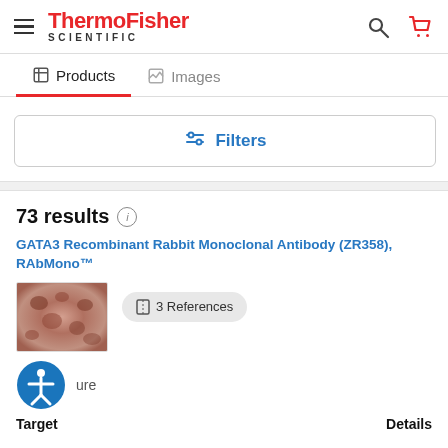ThermoFisher SCIENTIFIC
Products | Images
Filters
73 results
GATA3 Recombinant Rabbit Monoclonal Antibody (ZR358), RAbMono™
3 References
Target
Details